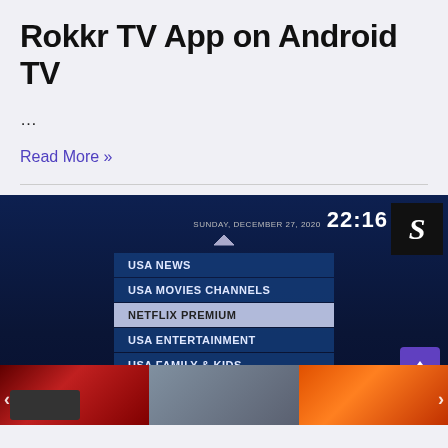Rokkr TV App on Android TV
…
Read More »
[Figure (screenshot): Screenshot of Rokkr TV app running on Android TV, showing a channel menu with categories: USA NEWS, USA MOVIES CHANNELS, NETFLIX PREMIUM (highlighted), USA ENTERTAINMENT, USA FAMILY & KIDS, USA DOCUMENTARY. Date/time shown: SUNDAY, DECEMBER 27, 2020 22:16. Bottom shows thumbnail previews including a USB dongle, a remote/TV, and fire/streaming imagery.]